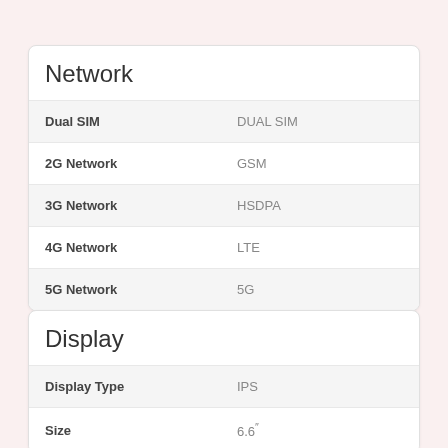| Feature | Value |
| --- | --- |
| Dual SIM | DUAL SIM |
| 2G Network | GSM |
| 3G Network | HSDPA |
| 4G Network | LTE |
| 5G Network | 5G |
| Feature | Value |
| --- | --- |
| Display Type | IPS |
| Size | 6.6" |